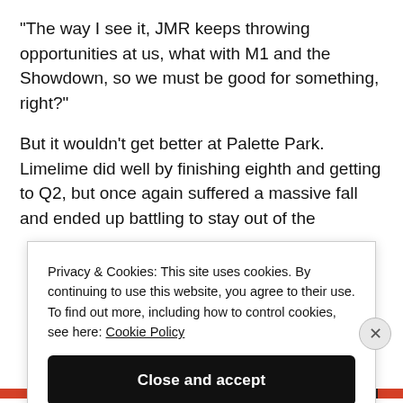“The way I see it, JMR keeps throwing opportunities at us, what with M1 and the Showdown, so we must be good for something, right?”
But it wouldn’t get better at Palette Park. Limelime did well by finishing eighth and getting to Q2, but once again suffered a massive fall and ended up battling to stay out of the
Privacy & Cookies: This site uses cookies. By continuing to use this website, you agree to their use. To find out more, including how to control cookies, see here: Cookie Policy
Close and accept